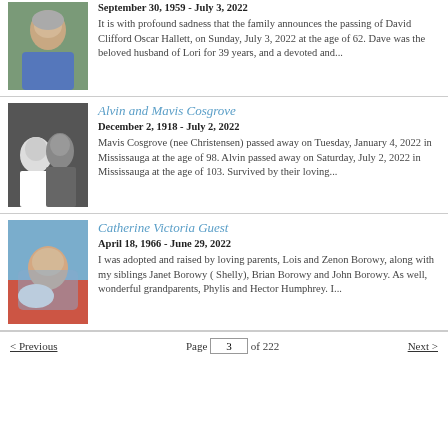[Figure (photo): Portrait photo of a man with grey hair wearing a blue shirt]
September 30, 1959 - July 3, 2022
It is with profound sadness that the family announces the passing of David Clifford Oscar Hallett, on Sunday, July 3, 2022 at the age of 62. Dave was the beloved husband of Lori for 39 years, and a devoted and...
[Figure (photo): Black and white wedding photo of a couple, woman in white dress and man in military uniform]
Alvin and Mavis Cosgrove
December 2, 1918 - July 2, 2022
Mavis Cosgrove (nee Christensen) passed away on Tuesday, January 4, 2022 in Mississauga at the age of 98. Alvin passed away on Saturday, July 2, 2022 in Mississauga at the age of 103. Survived by their loving...
[Figure (photo): Photo of a woman sitting with a dog outdoors]
Catherine Victoria Guest
April 18, 1966 - June 29, 2022
I was adopted and raised by loving parents, Lois and Zenon Borowy, along with my siblings Janet Borowy ( Shelly), Brian Borowy and John Borowy. As well, wonderful grandparents, Phylis and Hector Humphrey. I...
< Previous   Page 3 of 222   Next >